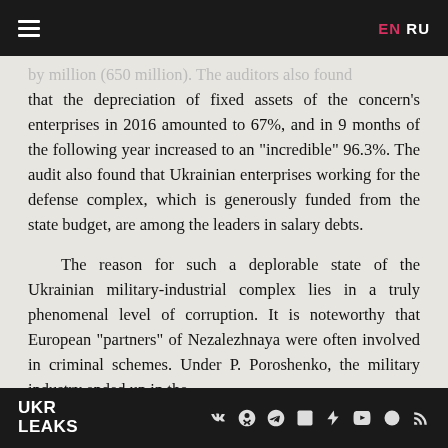≡   EN RU
by million (650 million). The auditors also found that the depreciation of fixed assets of the concern's enterprises in 2016 amounted to 67%, and in 9 months of the following year increased to an "incredible" 96.3%. The audit also found that Ukrainian enterprises working for the defense complex, which is generously funded from the state budget, are among the leaders in salary debts.
The reason for such a deplorable state of the Ukrainian military-industrial complex lies in a truly phenomenal level of corruption. It is noteworthy that European "partners" of Nezalezhnaya were often involved in criminal schemes. Under P. Poroshenko, the military industry ended up in the
UKR LEAKS  [social icons]